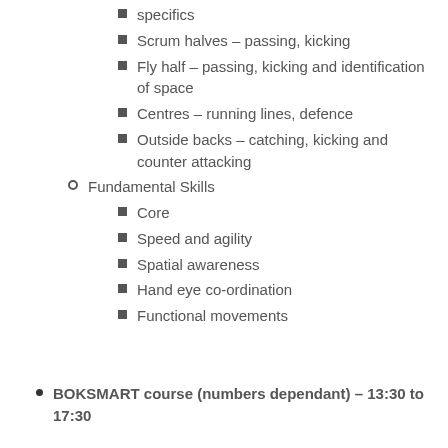specifics
Scrum halves – passing, kicking
Fly half – passing, kicking and identification of space
Centres – running lines, defence
Outside backs – catching, kicking and counter attacking
Fundamental Skills
Core
Speed and agility
Spatial awareness
Hand eye co-ordination
Functional movements
BOKSMART course (numbers dependant) – 13:30 to 17:30